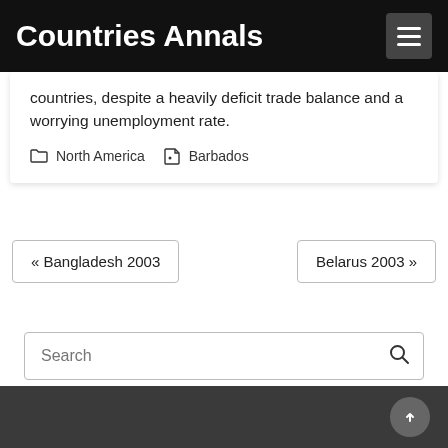Countries Annals
countries, despite a heavily deficit trade balance and a worrying unemployment rate.
North America   Barbados
« Bangladesh 2003
Belarus 2003 »
Search